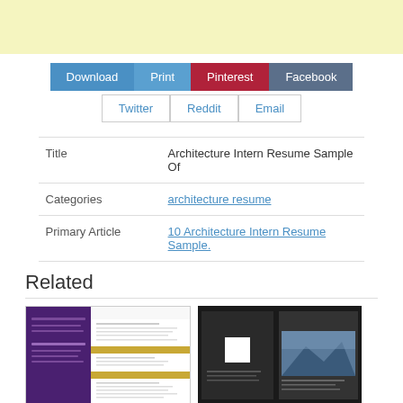[Figure (other): Yellow banner at top of page]
[Figure (other): Social sharing buttons: Download (blue), Print (blue), Pinterest (red), Facebook (dark blue), Twitter (outlined), Reddit (outlined), Email (outlined)]
| Title | Architecture Intern Resume Sample Of |
| Categories | architecture resume |
| Primary Article | 10 Architecture Intern Resume Sample. |
Related
[Figure (other): Thumbnail of architecture intern resume with purple and white layout]
[Figure (other): Thumbnail of dark book/portfolio layout with landscape image]